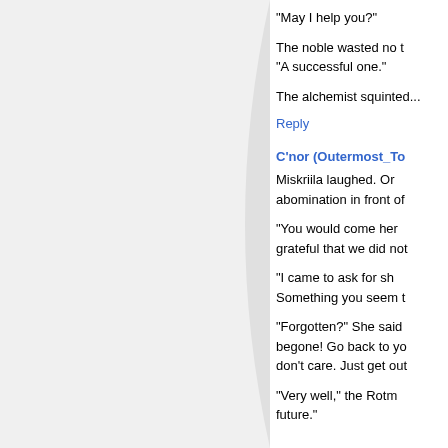"May I help you?"
The noble wasted no time. "A successful one."
The alchemist squinted...
Reply
C'nor (Outermost_To...
Miskriila laughed. Or... abomination in front of...
"You would come here... grateful that we did not...
"I came to ask for sh... Something you seem t...
"Forgotten?" She said... begone! Go back to y... don't care. Just get ou...
"Very well," the Rotm... future."